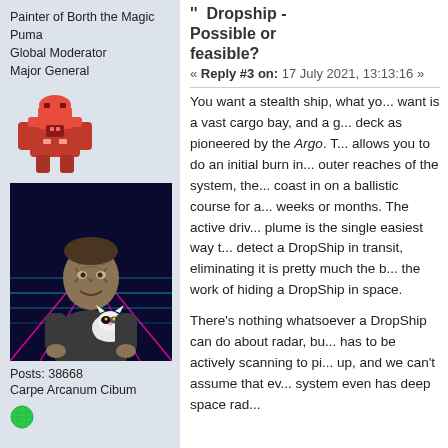Painter of Borth the Magic Puma
Global Moderator
Major General
[Figure (illustration): Pixel art avatar of a red robotic or mech-like character]
[Figure (photo): Photo of a smiling person with alien-like makeup holding a small black and white cat, against a retro laser background]
Posts: 38668
Carpe Arcanum Cibum
[Figure (illustration): Green globe/world icon]
Dropship - Possible or feasible?
« Reply #3 on: 17 July 2021, 13:13:16 »
You want a stealth ship, what you want is a vast cargo bay, and a g... deck as pioneered by the Argo. This allows you to do an initial burn in... outer reaches of the system, the... coast in on a ballistic course for a... weeks or months. The active driv... plume is the single easiest way t... detect a DropShip in transit, eliminating it is pretty much the b... the work of hiding a DropShip in space.
There's nothing whatsoever a DropShip can do about radar, bu... has to be actively scanning to pi... up, and we can't assume that ev... system even has deep space rad...